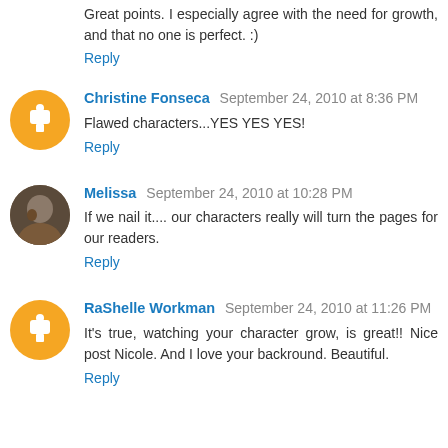Great points. I especially agree with the need for growth, and that no one is perfect. :)
Reply
Christine Fonseca  September 24, 2010 at 8:36 PM
Flawed characters...YES YES YES!
Reply
Melissa  September 24, 2010 at 10:28 PM
If we nail it.... our characters really will turn the pages for our readers.
Reply
RaShelle Workman  September 24, 2010 at 11:26 PM
It's true, watching your character grow, is great!! Nice post Nicole. And I love your backround. Beautiful.
Reply